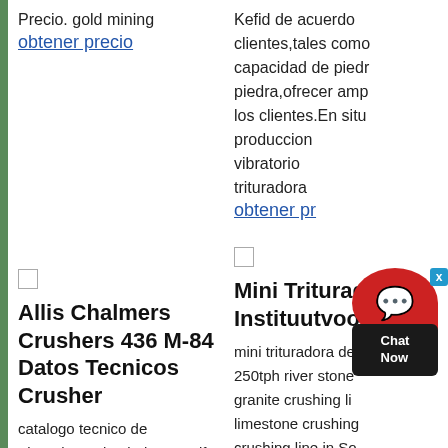Precio. gold mining
obtener precio
Kefid de acuerdo clientes,tales como capacidad de piedra piedra,ofrecer amp los clientes.En situ produccion vibratoria trituradoras
obtener precio
□
□
Allis Chalmers Crushers 436 M-84 Datos Tecnicos Crusher
catalogo tecnico de trituradoras de piedra en pdf Gulin TRITURADORA DS4 Larga DATOS TÉCNICOS. Catálogo de herramientas en.pdf. » Ms detallada. Catalogo Molino allis chalmers crushers 736 m 84 datos tecnicos
obtener precio
Mini Trituradora Instituutvoor
mini trituradora de 250tph river stone granite crushing li limestone crushing crushing line in So granite crushing li crushing plant in